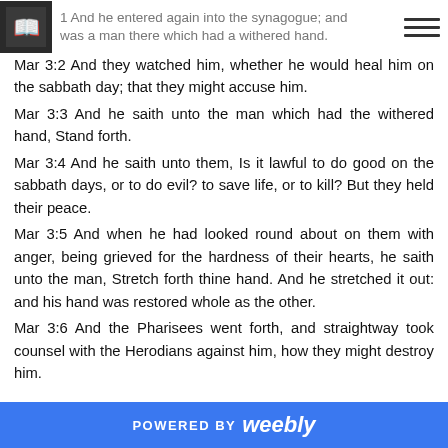Mar 3:1 And he entered again into the synagogue; and there was a man there which had a withered hand.
Mar 3:2 And they watched him, whether he would heal him on the sabbath day; that they might accuse him.
Mar 3:3 And he saith unto the man which had the withered hand, Stand forth.
Mar 3:4 And he saith unto them, Is it lawful to do good on the sabbath days, or to do evil? to save life, or to kill? But they held their peace.
Mar 3:5 And when he had looked round about on them with anger, being grieved for the hardness of their hearts, he saith unto the man, Stretch forth thine hand. And he stretched it out: and his hand was restored whole as the other.
Mar 3:6 And the Pharisees went forth, and straightway took counsel with the Herodians against him, how they might destroy him.
POWERED BY weebly